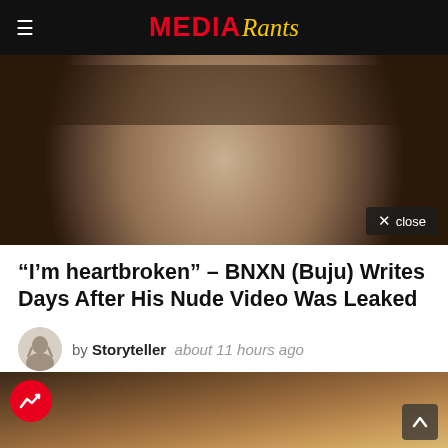MEDIA Rants
[Figure (photo): Man in a plaid blazer jacket, with a close-up portrait style shot. A semi-transparent 'close' button overlay appears in the bottom right.]
“I’m heartbroken” – BNXN (Buju) Writes Days After His Nude Video Was Leaked
by Storyteller  about 11 hours ago
[Figure (photo): Close-up photo of a person's face/head, with a red trending badge (arrow icon) in the top left and a scroll-up button in the bottom right.]